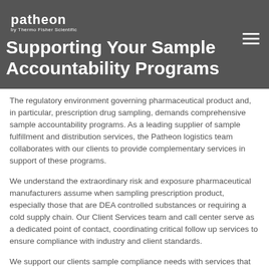Supporting Your Sample Accountability Programs
The regulatory environment governing pharmaceutical product and, in particular, prescription drug sampling, demands comprehensive sample accountability programs. As a leading supplier of sample fulfillment and distribution services, the Patheon logistics team collaborates with our clients to provide complementary services in support of these programs.
We understand the extraordinary risk and exposure pharmaceutical manufacturers assume when sampling prescription product, especially those that are DEA controlled substances or requiring a cold supply chain. Our Client Services team and call center serve as a dedicated point of contact, coordinating critical follow up services to ensure compliance with industry and client standards.
We support our clients sample compliance needs with services that include Sample Allocation Management,